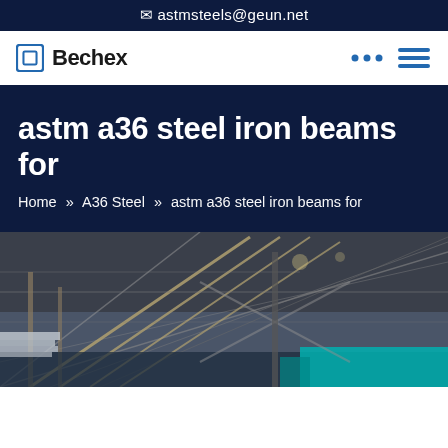✉ astmsteels@geun.net
[Figure (logo): Bechex logo with blue square icon and bold text]
astm a36 steel iron beams for
Home » A36 Steel » astm a36 steel iron beams for
[Figure (photo): Interior of a large industrial steel structure/warehouse showing steel beams, trusses and roof framework]